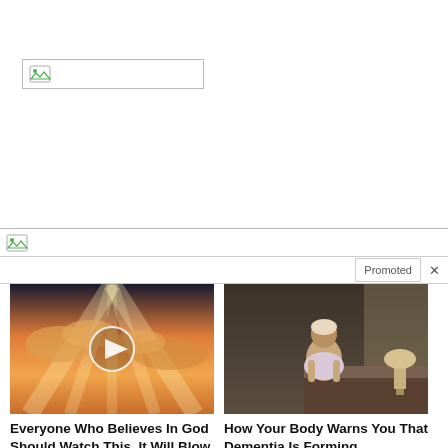[Figure (screenshot): Broken image placeholder with icon, wide rectangle with border]
[Figure (screenshot): Broken image placeholder with icon, full width with border]
Promoted X
[Figure (photo): Photo of clouds with sunrays and a video play button overlay]
Everyone Who Believes In God Should Watch This. It Will Blow Your Mind
23,227
[Figure (photo): Photo of an elderly person sitting on a bed]
How Your Body Warns You That Dementia Is Forming
58,431